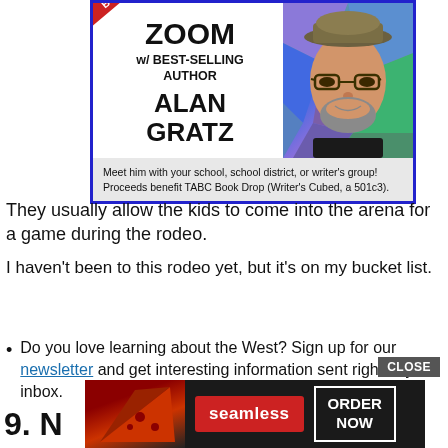[Figure (infographic): Advertisement: Bid to Zoom with best-selling author Alan Gratz. Red ribbon in top-left corner with 'BID TO' text. Left side shows text 'ZOOM w/ BEST-SELLING AUTHOR ALAN GRATZ'. Right side shows photo of Alan Gratz (man with beard, glasses, hat) against colorful geometric background. Bottom caption: 'Meet him with your school, school district, or writer's group! Proceeds benefit TABC Book Drop (Writer's Cubed, a 501c3).']
They usually allow the kids to come into the arena for a game during the rodeo.
I haven't been to this rodeo yet, but it's on my bucket list.
Do you love learning about the West? Sign up for our newsletter and get interesting information sent right to your inbox.
9. N
[Figure (screenshot): Bottom advertisement overlay: Seamless food delivery ad with pizza image, 'seamless' red button, and 'ORDER NOW' button. CLOSE button visible at top right of ad.]